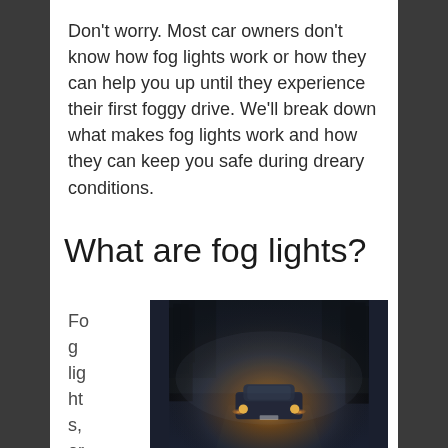Don't worry. Most car owners don't know how fog lights work or how they can help you up until they experience their first foggy drive. We'll break down what makes fog lights work and how they can keep you safe during dreary conditions.
What are fog lights?
Fog lights, or fogla
[Figure (photo): A car driving through dense fog at night, viewed from the front, with glowing amber headlights illuminating the dark foggy scene. Trees are faintly visible in the background.]